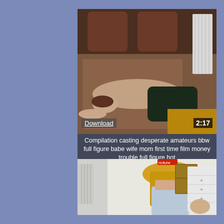[Figure (screenshot): Video thumbnail showing a woman on a bed, viewed from behind, with a radiator visible in the background. A 'Download' link overlay and '2:17' duration badge are visible.]
Compilation casting desperate amateurs bbw full figure babe wife mom first time film money trouble full figure hot
[Figure (screenshot): Video thumbnail showing a blonde woman from behind wearing light-colored jeans, with a bedroom dresser visible in the background.]